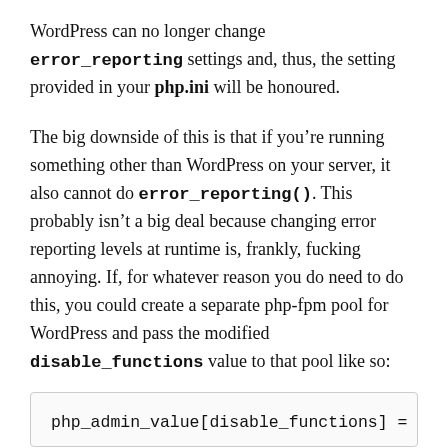WordPress can no longer change error_reporting settings and, thus, the setting provided in your php.ini will be honoured.
The big downside of this is that if you’re running something other than WordPress on your server, it also cannot do error_reporting(). This probably isn’t a big deal because changing error reporting levels at runtime is, frankly, fucking annoying. If, for whatever reason you do need to do this, you could create a separate php-fpm pool for WordPress and pass the modified disable_functions value to that pool like so:
php_admin_value[disable_functions] =